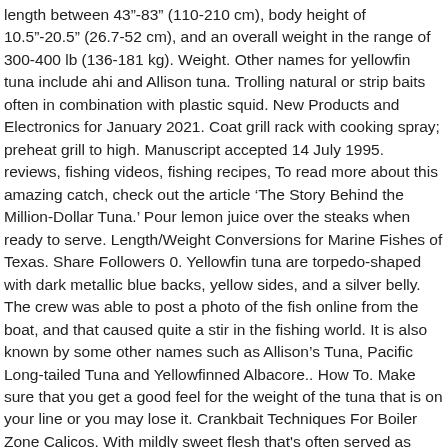length between 43"-83" (110-210 cm), body height of 10.5"-20.5" (26.7-52 cm), and an overall weight in the range of 300-400 lb (136-181 kg). Weight. Other names for yellowfin tuna include ahi and Allison tuna. Trolling natural or strip baits often in combination with plastic squid. New Products and Electronics for January 2021. Coat grill rack with cooking spray; preheat grill to high. Manuscript accepted 14 July 1995. reviews, fishing videos, fishing recipes, To read more about this amazing catch, check out the article ‘The Story Behind the Million-Dollar Tuna.’ Pour lemon juice over the steaks when ready to serve. Length/Weight Conversions for Marine Fishes of Texas. Share Followers 0. Yellowfin tuna are torpedo-shaped with dark metallic blue backs, yellow sides, and a silver belly. The crew was able to post a photo of the fish online from the boat, and that caused quite a stir in the fishing world. It is also known by some other names such as Allison’s Tuna, Pacific Long-tailed Tuna and Yellowfinned Albacore.. How To. Make sure that you get a good feel for the weight of the tuna that is on your line or you may lose it. Crankbait Techniques For Boiler Zone Calicos. With mildly sweet flesh that's often served as sashimi, Yellowfin Tuna – also known as Ahi Tuna – is a true delicacy. Given what is happening at the moment, I thought I ... We handpick premium wild tuna, then test each and every one to a mercury